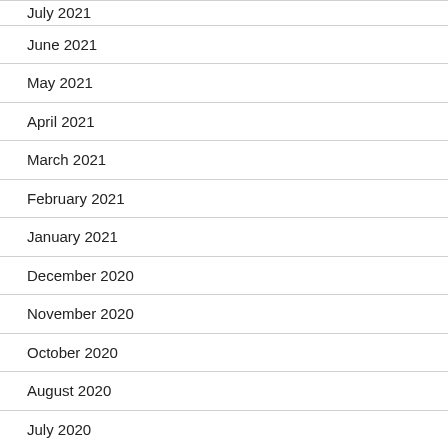July 2021
June 2021
May 2021
April 2021
March 2021
February 2021
January 2021
December 2020
November 2020
October 2020
August 2020
July 2020
May 2020
April 2020